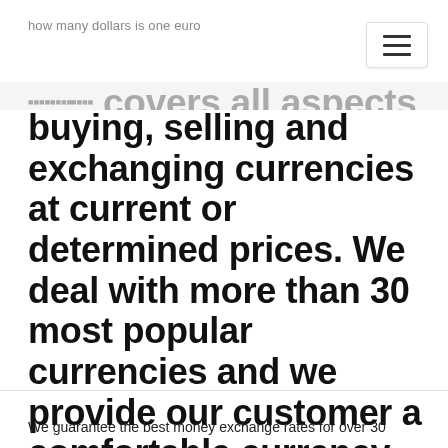how many dollars is one euro
...We covers all aspects of buying, selling and exchanging currencies at current or determined prices. We deal with more than 30 most popular currencies and we provide our customer a comfortable currency trading zone where they can get the best rate by either single or multiple currency exchange.
We guarantee the best money exchange rates for over 30